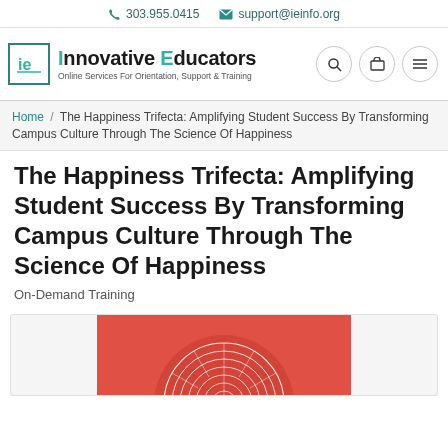303.955.0415  support@ieinfo.org
[Figure (logo): Innovative Educators logo with teal 'ie' in a box, company name and tagline 'Online Services For Orientation, Support & Training', plus search, cart, and menu icons]
Home / The Happiness Trifecta: Amplifying Student Success By Transforming Campus Culture Through The Science Of Happiness
The Happiness Trifecta: Amplifying Student Success By Transforming Campus Culture Through The Science Of Happiness
On-Demand Training
[Figure (illustration): Red/coral background with a white decorative mandala/circular pattern at the bottom center of the card]